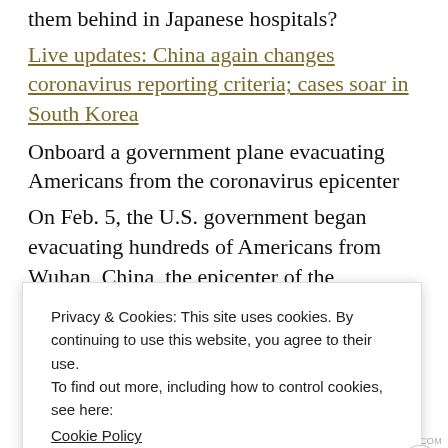them behind in Japanese hospitals?
Live updates: China again changes coronavirus reporting criteria; cases soar in South Korea
Onboard a government plane evacuating Americans from the coronavirus epicenter
On Feb. 5, the U.S. government began evacuating hundreds of Americans from Wuhan, China, the epicenter of the coronavirus outbreak, using chartered jumbo jets. (The Washington Post)
In Washington, where it was still Sunday afternoon, a
Privacy & Cookies: This site uses cookies. By continuing to use this website, you agree to their use.
To find out more, including how to control cookies, see here:
Cookie Policy
Close and accept